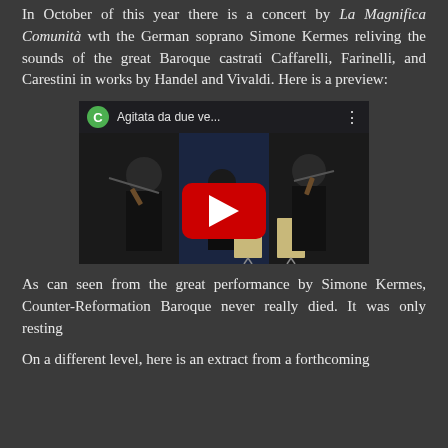In October of this year there is a concert by La Magnifica Comunità wth the German soprano Simone Kermes reliving the sounds of the great Baroque castrati Caffarelli, Farinelli, and Carestini in works by Handel and Vivaldi. Here is a preview:
[Figure (screenshot): YouTube video thumbnail showing musicians playing violins in black clothing on a dark stage, with a YouTube play button overlay. Video bar shows a green circle with 'C', title 'Agitata da due ve...' and a three-dot menu.]
As can seen from the great performance by Simone Kermes, Counter-Reformation Baroque never really died. It was only resting
On a different level, here is an extract from a forthcoming